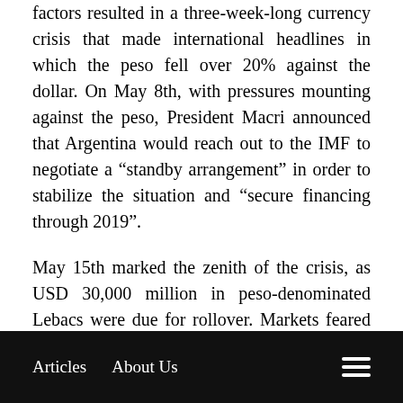factors resulted in a three-week-long currency crisis that made international headlines in which the peso fell over 20% against the dollar. On May 8th, with pressures mounting against the peso, President Macri announced that Argentina would reach out to the IMF to negotiate a “standby arrangement” in order to stabilize the situation and “secure financing through 2019”.
May 15th marked the zenith of the crisis, as USD 30,000 million in peso-denominated Lebacs were due for rollover. Markets feared that, if a significant proportion of investors decided not to roll over, there would be a definite run against the CB’s reserves.
Articles   About Us